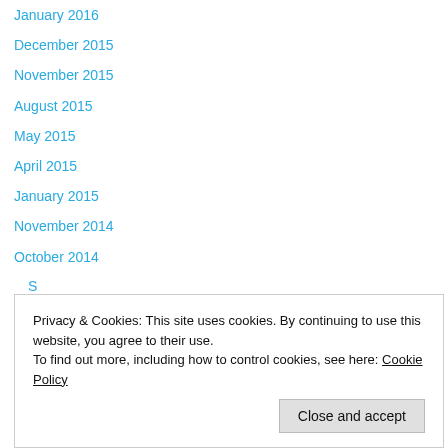January 2016
December 2015
November 2015
August 2015
May 2015
April 2015
January 2015
November 2014
October 2014
Privacy & Cookies: This site uses cookies. By continuing to use this website, you agree to their use.
To find out more, including how to control cookies, see here: Cookie Policy
Close and accept